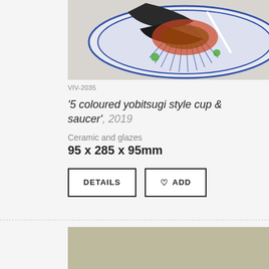[Figure (photo): Top-down photograph of a blue and white ceramic plate/saucer with colorful decorative patterns, viewed from above on a light grey background.]
VIV-2035
'5 coloured yobitsugi style cup & saucer', 2019
Ceramic and glazes
95 x 285 x 95mm
[Figure (photo): Partial view of another artwork on a beige/tan background, bottom of page.]